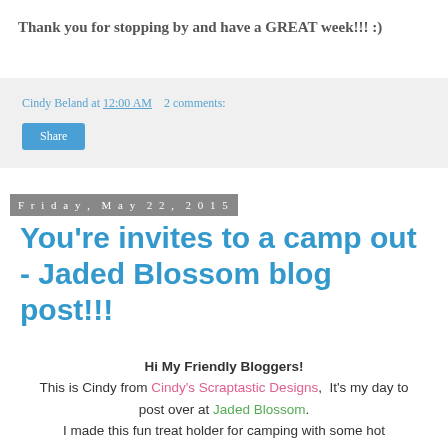Thank you for stopping by and have a GREAT week!!! :)
Cindy Beland at 12:00 AM   2 comments:
Share
Friday, May 22, 2015
You're invites to a camp out - Jaded Blossom blog post!!!
Hi My Friendly Bloggers! This is Cindy from Cindy's Scraptastic Designs, It's my day to post over at Jaded Blossom. I made this fun treat holder for camping with some hot